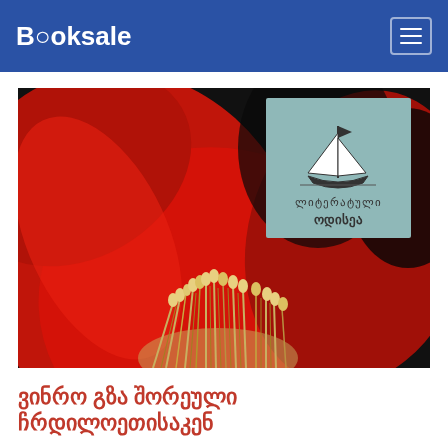Booksale
[Figure (photo): Book cover showing a close-up red flower with stamens, and a publisher logo overlay showing a sailboat with Georgian text 'литературули одисеа' (Literary Odyssey)]
ვინრო გზა შორეული ჰრდილოეთისაკენ